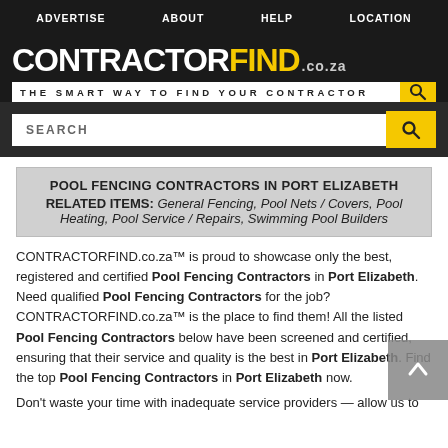ADVERTISE  ABOUT  HELP  LOCATION
[Figure (logo): ContractorFind.co.za logo with tagline THE SMART WAY TO FIND YOUR CONTRACTOR and search icon]
SEARCH
POOL FENCING CONTRACTORS IN PORT ELIZABETH
RELATED ITEMS: General Fencing, Pool Nets / Covers, Pool Heating, Pool Service / Repairs, Swimming Pool Builders
CONTRACTORFIND.co.za™ is proud to showcase only the best, registered and certified Pool Fencing Contractors in Port Elizabeth. Need qualified Pool Fencing Contractors for the job? CONTRACTORFIND.co.za™ is the place to find them! All the listed Pool Fencing Contractors below have been screened and certified, ensuring that their service and quality is the best in Port Elizabeth. Find the top Pool Fencing Contractors in Port Elizabeth now.
Don't waste your time with inadequate service providers — allow us to